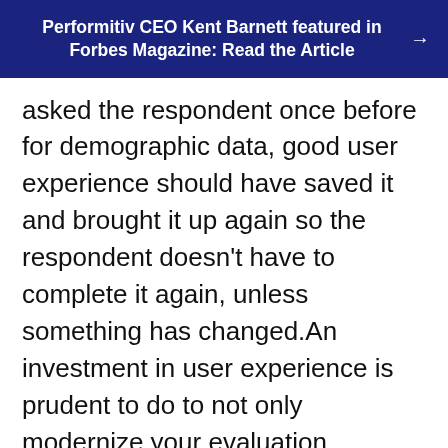Performitiv CEO Kent Barnett featured in Forbes Magazine: Read the Article
asked the respondent once before for demographic data, good user experience should have saved it and brought it up again so the respondent doesn't have to complete it again, unless something has changed.An investment in user experience is prudent to do to not only modernize your evaluation presentation but to better engage respondents in any device.Conclusion:Create active respondents that will provide higher response rates and more complete responses. Do this by shortening the evaluations, simplifying the complexity out of evaluations and leveraging basic user experience